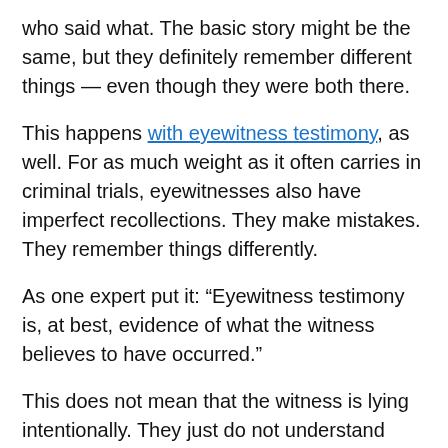who said what. The basic story might be the same, but they definitely remember different things — even though they were both there.
This happens with eyewitness testimony, as well. For as much weight as it often carries in criminal trials, eyewitnesses also have imperfect recollections. They make mistakes. They remember things differently.
As one expert put it: “Eyewitness testimony is, at best, evidence of what the witness believes to have occurred.”
This does not mean that the witness is lying intentionally. They just do not understand how many factors can impact their memories and make them an inaccurate representation of what happened. Some factors include:
The age of the witness
The person’s overall health